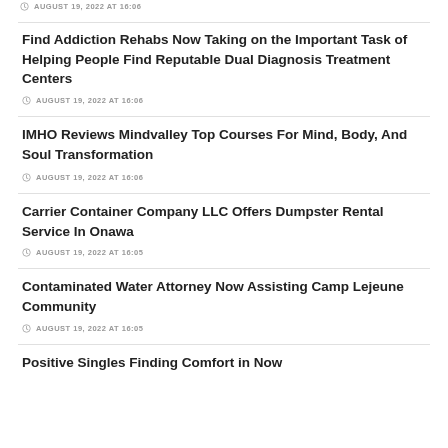AUGUST 19, 2022 AT 16:06
Find Addiction Rehabs Now Taking on the Important Task of Helping People Find Reputable Dual Diagnosis Treatment Centers
AUGUST 19, 2022 AT 16:06
IMHO Reviews Mindvalley Top Courses For Mind, Body, And Soul Transformation
AUGUST 19, 2022 AT 16:06
Carrier Container Company LLC Offers Dumpster Rental Service In Onawa
AUGUST 19, 2022 AT 16:05
Contaminated Water Attorney Now Assisting Camp Lejeune Community
AUGUST 19, 2022 AT 16:05
Positive Singles Finding Comfort in Now